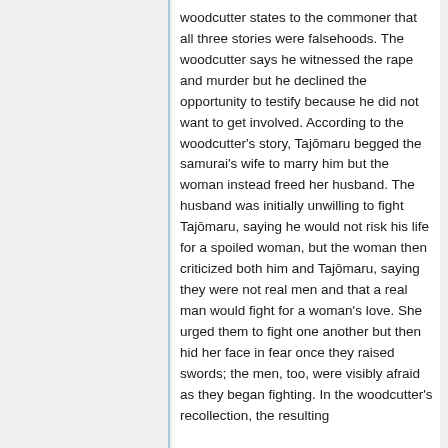woodcutter states to the commoner that all three stories were falsehoods. The woodcutter says he witnessed the rape and murder but he declined the opportunity to testify because he did not want to get involved. According to the woodcutter's story, Tajōmaru begged the samurai's wife to marry him but the woman instead freed her husband. The husband was initially unwilling to fight Tajōmaru, saying he would not risk his life for a spoiled woman, but the woman then criticized both him and Tajōmaru, saying they were not real men and that a real man would fight for a woman's love. She urged them to fight one another but then hid her face in fear once they raised swords; the men, too, were visibly afraid as they began fighting. In the woodcutter's recollection, the resulting